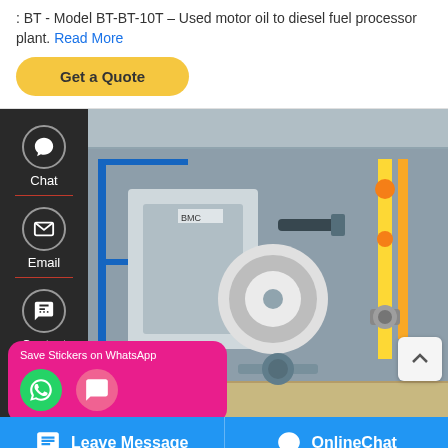: BT - Model BT-BT-10T - Used motor oil to diesel fuel processor plant. Read More
Get a Quote
[Figure (photo): Industrial oil boiler installation showing large white/grey boiler equipment with yellow pipes, blue metal framework, and piping in an industrial facility interior]
ey 1t Oil Boiler
Save Stickers on WhatsApp
Leave Message
OnlineChat